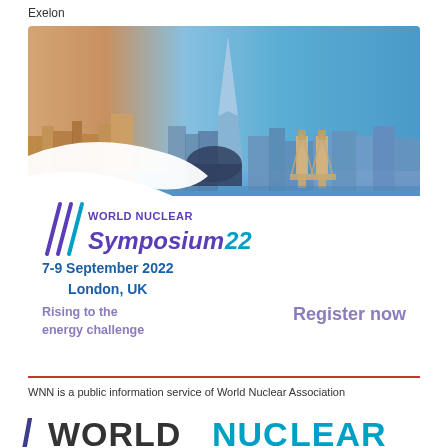Exelon
[Figure (photo): Advertisement for World Nuclear Symposium 22. Background photo of London skyline with The Shard and Tower Bridge visible over the River Thames. White wave overlay on lower-left portion. Logo reads 'World Nuclear Symposium 22' with slash marks. Text: '7-9 September 2022, London, UK', 'Rising to the energy challenge', 'Register now'. Dark teal wave shape at bottom.]
WNN is a public information service of World Nuclear Association
[Figure (logo): World Nuclear Association logo with slash mark and 'WORLD NUCLEAR' text in dark and teal colors]